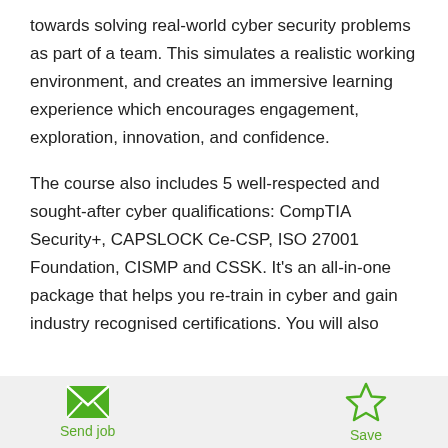towards solving real-world cyber security problems as part of a team. This simulates a realistic working environment, and creates an immersive learning experience which encourages engagement, exploration, innovation, and confidence.
The course also includes 5 well-respected and sought-after cyber qualifications: CompTIA Security+, CAPSLOCK Ce-CSP, ISO 27001 Foundation, CISMP and CSSK. It's an all-in-one package that helps you re-train in cyber and gain industry recognised certifications. You will also
[Figure (other): Footer bar with two actions: envelope/mail icon labeled 'Send job' on the left, and star outline icon labeled 'Save' on the right, both in green]